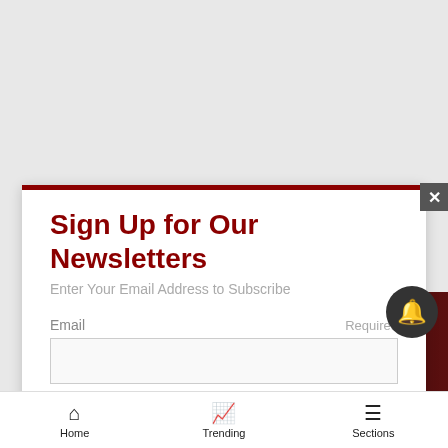Sign Up for Our Newsletters
Enter Your Email Address to Subscribe
Email                                                      Required
[Figure (screenshot): Macy's advertisement banner: 'KISS BORING LIPS GOODBYE' with woman's face and red lips, SHOP NOW button, and Macy's star logo]
Home   Trending   Sections